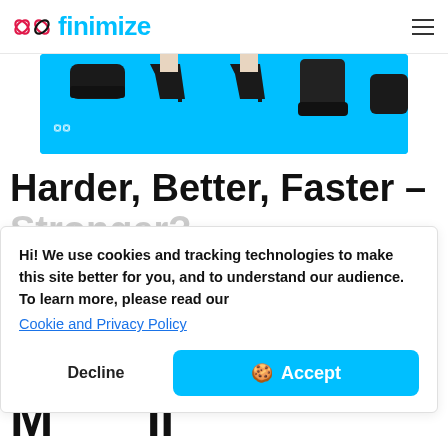finimize
[Figure (illustration): Finimize branded banner with cyan/blue background showing various shoes (heels, boots, flat shoes) of different people walking, with the Finimize logo watermark in the bottom-left corner.]
Harder, Better, Faster – Stronger?
Hi! We use cookies and tracking technologies to make this site better for you, and to understand our audience. To learn more, please read our
Cookie and Privacy Policy
Decline    🍪 Accept